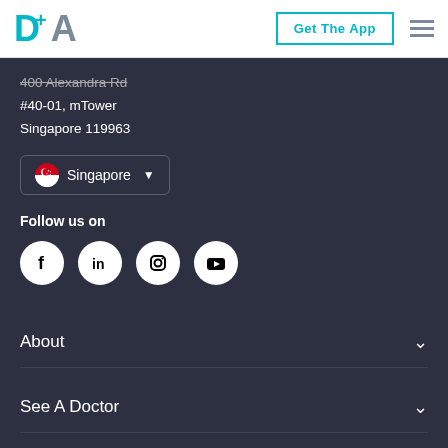[Figure (logo): DA+ logo with teal D and gray A letters]
Get The App
400 Alexandra Rd
#40-01, mTower
Singapore 119963
[Figure (other): Singapore region selector dropdown with flag]
Follow us on
[Figure (other): Social media icons: Facebook, LinkedIn, Instagram, YouTube]
About
See A Doctor
Home Care